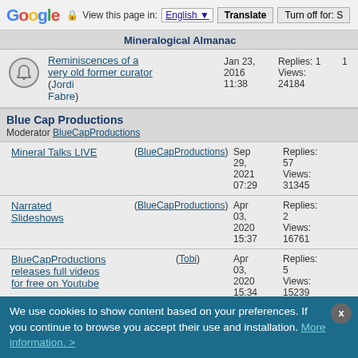Google | View this page in: English | Translate | Turn off for: S
Mineralogical Almanac
Reminiscences of a very old former curator (Jordi Fabre) Jan 23, 2016 11:38 Replies: 1 Views: 24184
Blue Cap Productions
Moderator BlueCapProductions
Mineral Talks LIVE (BlueCapProductions) Sep 29, 2021 07:29 Replies: 57 Views: 31345
Narrated Slideshows (BlueCapProductions) Apr 03, 2020 15:37 Replies: 2 Views: 16761
BlueCapProductions releases full videos for free on Youtube (Tobi) Apr 03, 2020 15:34 Replies: 5 Views: 15239
Jordi's Munich 2018 booth on Blue Cap Productions (Tobi) Mar 23, 2020 02:42 Replies: 2 Views: 26434
We use cookies to show content based on your preferences. If you continue to browse you accept their use and installation. More information. >